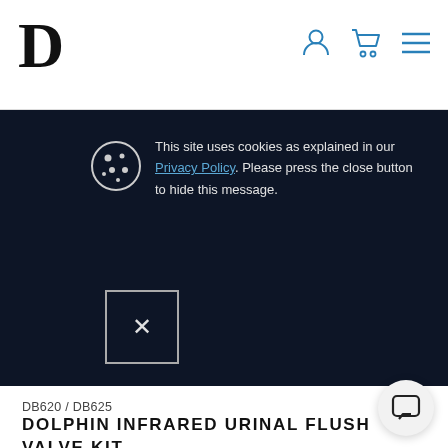[Figure (logo): Letter D logo in bold serif font]
This site uses cookies as explained in our Privacy Policy. Please press the close button to hide this message.
DB620 / DB625
DOLPHIN INFRARED URINAL FLUSH VALVE KIT (PROXIMITY SENSOR)